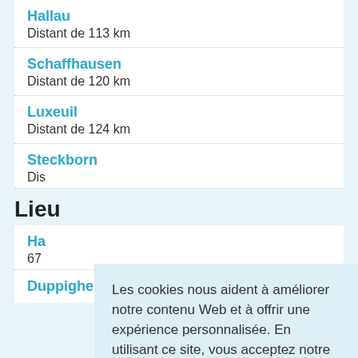Hallau
Distant de 113 km
Schaffhausen
Distant de 120 km
Luxeuil
Distant de 124 km
Steckborn
Dis[tant de ... km]
Lieu
Ha[llau]
67[... km]
Duppigheim
Les cookies nous aident à améliorer notre contenu Web et à offrir une expérience personnalisée. En utilisant ce site, vous acceptez notre utilisation des cookies.
En savoir plus
OK